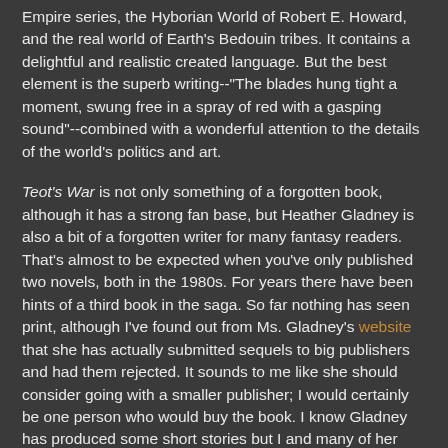Empire series, the Hyborian World of Robert E. Howard, and the real world of Earth's Bedouin tribes. It contains a delightful and realistic created language. But the best element is the superb writing--"The blades hung tight a moment, swung free in a spray of red with a gasping sound"--combined with a wonderful attention to the details of the world's politics and art.
Teot's War is not only something of a forgotten book, although it has a strong fan base, but Heather Gladney is also a bit of a forgotten writer for many fantasy readers. That's almost to be expected when you've only published two novels, both in the 1980s. For years there have been hints of a third book in the saga. So far nothing has seen print, although I've found out from Ms. Gladney's website that she has actually submitted sequels to big publishers and had them rejected. It sounds to me like she should consider going with a smaller publisher; I would certainly be one person who would buy the book. I know Gladney has produced some short stories but I and many of her other fans would love to see the third book in her series. In my experience, few writers had such an auspicious start to their